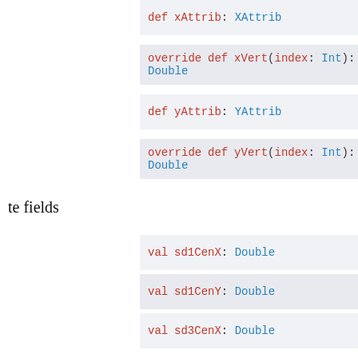def xAttrib: XAttrib
override def xVert(index: Int): Double
def yAttrib: YAttrib
override def yVert(index: Int): Double
te fields
val sd1CenX: Double
val sd1CenY: Double
val sd3CenX: Double
val sd3CenY: Double
val width2: Double